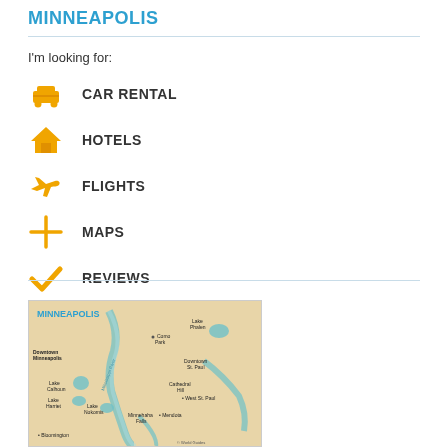MINNEAPOLIS
I'm looking for:
CAR RENTAL
HOTELS
FLIGHTS
MAPS
REVIEWS
[Figure (map): Map of Minneapolis area showing Downtown Minneapolis, Lake Calhoun, Lake Harriet, Lake Nokomis, Minnehaha Falls, Como Park, Lake Phalen, Downtown St. Paul, Cathedral Hill, West St. Paul, Mendota, Bloomington, Mississippi River. Copyright World Guides.]